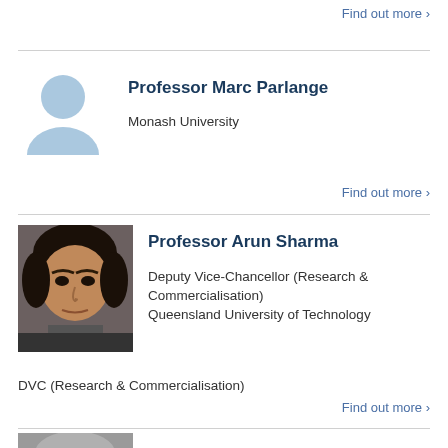Find out more >
[Figure (illustration): Light blue placeholder silhouette avatar icon for Professor Marc Parlange]
Professor Marc Parlange
Monash University
Find out more >
[Figure (photo): Photo of Professor Arun Sharma, a man with dark hair]
Professor Arun Sharma
Deputy Vice-Chancellor (Research & Commercialisation)
Queensland University of Technology
DVC (Research & Commercialisation)
Find out more >
[Figure (photo): Partial photo of a third person at bottom of page]